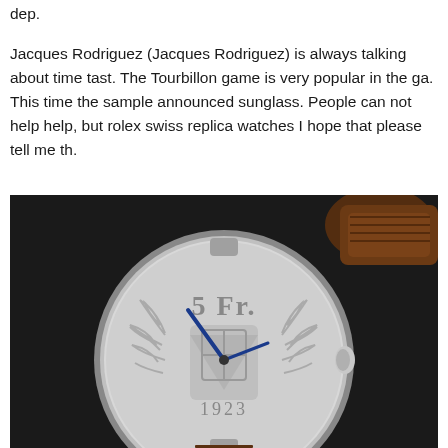dep.
Jacques Rodriguez (Jacques Rodriguez) is always talking about time tast. The Tourbillon game is very popular in the ga. This time the sample announced sunglass. People can not help help, but rolex swiss replica watches I hope that please tell me th.
[Figure (photo): A close-up photograph of a luxury wristwatch with a coin-style dial showing '5 Fr.' and '1923', blue hands, silver case, and brown leather strap, photographed against a dark background.]